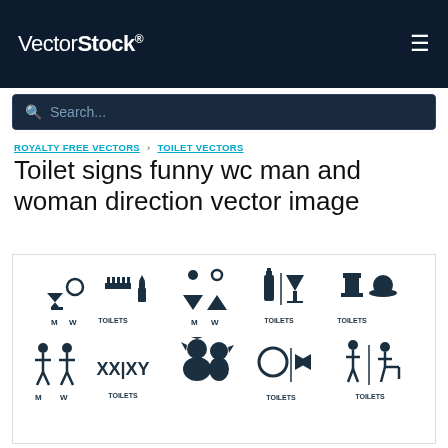VectorStock®
Search...
ROYALTY FREE VECTORS › TOILET VECTORS
Toilet signs funny wc man and woman direction vector image
[Figure (illustration): Collection of funny toilet/WC signs showing man and woman direction icons in dark teal silhouette style. Top row: 1) M W signs with cocktail glass and wine glass icons, 2) Comb and lipstick icons labeled TOILETS, 3) M W with downward and upward triangle icons, 4) Bottle and martini glass labeled TOILETS, 5) Top hat and bowler hat labeled TOILETS. Bottom row: 1) Stylized man and woman figures with MW, 2) XX|XY labeled TOILETS, 3) Rooster and hen silhouettes, 4) Circle and bow-tie labeled TOILETS, 5) Standing figure and sitting figure labeled TOILETS.]